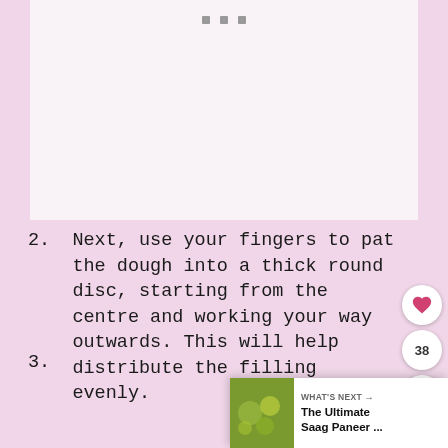[Figure (photo): A mostly white/light image area with three small grey dots at the top center suggesting a carousel or image placeholder]
2. Next, use your fingers to pat the dough into a thick round disc, starting from the centre and working your way outwards. This will help distribute the filling evenly.
3. (partially visible, cut off at bottom)